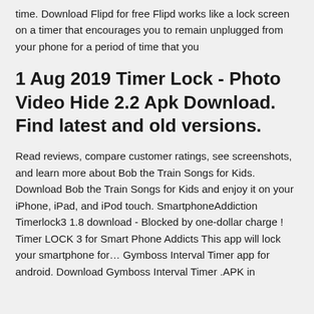time. Download Flipd for free Flipd works like a lock screen on a timer that encourages you to remain unplugged from your phone for a period of time that you
1 Aug 2019 Timer Lock - Photo Video Hide 2.2 Apk Download. Find latest and old versions.
Read reviews, compare customer ratings, see screenshots, and learn more about Bob the Train Songs for Kids. Download Bob the Train Songs for Kids and enjoy it on your iPhone, iPad, and iPod touch. SmartphoneAddiction Timerlock3 1.8 download - Blocked by one-dollar charge ! Timer LOCK 3 for Smart Phone Addicts This app will lock your smartphone for… Gymboss Interval Timer app for android. Download Gymboss Interval Timer .APK in